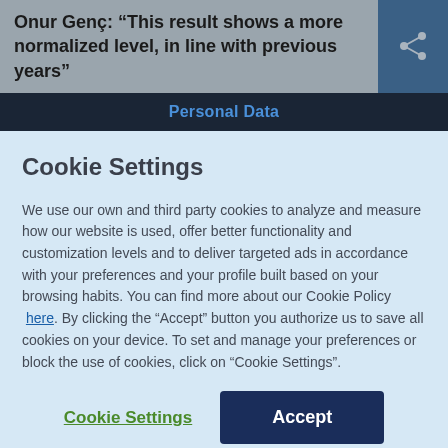Onur Genç: “This result shows a more normalized level, in line with previous years”
Personal Data
Cookie Settings
We use our own and third party cookies to analyze and measure how our website is used, offer better functionality and customization levels and to deliver targeted ads in accordance with your preferences and your profile built based on your browsing habits. You can find more about our Cookie Policy here. By clicking the “Accept” button you authorize us to save all cookies on your device. To set and manage your preferences or block the use of cookies, click on “Cookie Settings”.
Cookie Settings
Accept